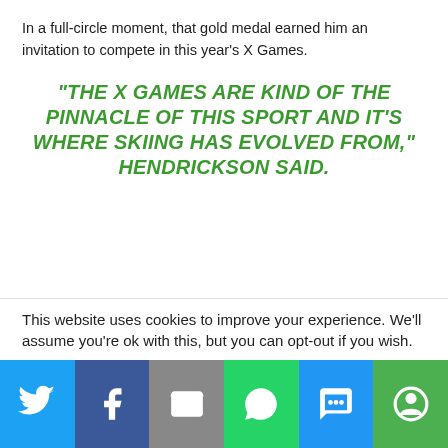In a full-circle moment, that gold medal earned him an invitation to compete in this year's X Games.
“THE X GAMES ARE KIND OF THE PINNACLE OF THIS SPORT AND IT’S WHERE SKIING HAS EVOLVED FROM,” HENDRICKSON SAID.
This website uses cookies to improve your experience. We'll assume you're ok with this, but you can opt-out if you wish.
[Figure (infographic): Social share bar with icons for Twitter, Facebook, Email, WhatsApp, SMS, and More]